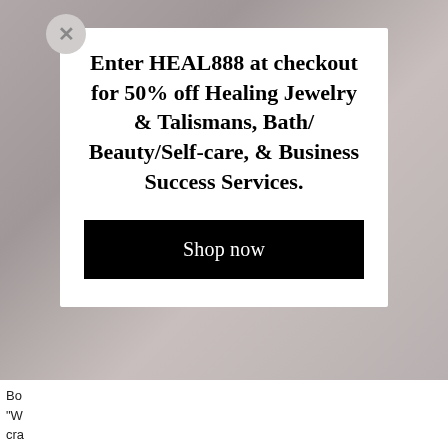[Figure (screenshot): E-commerce popup modal overlay on a website with a decorative background image (floral/botanical pattern in muted tones). The modal contains a promotional message and a call-to-action button.]
Enter HEAL888 at checkout for 50% off Healing Jewelry & Talismans, Bath/ Beauty/Self-care, & Business Success Services.
Shop now
Bo... ng "W... ur cra...